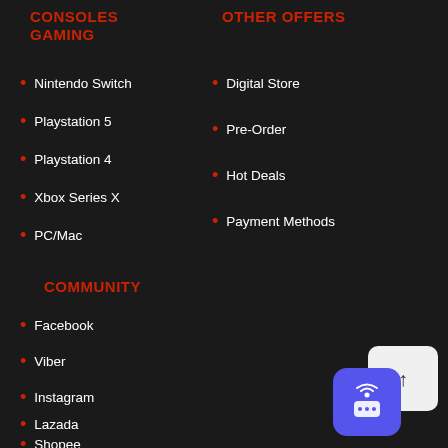CONSOLES GAMING
Nintendo Switch
Playstation 5
Playstation 4
Xbox Series X
PC/Mac
OTHER OFFERS
Digital Store
Pre-Order
Hot Deals
Payment Methods
COMMUNITY
Facebook
Viber
Instagram
Lazada
Shopee
[Figure (illustration): A white card with upward arrow icon overlapping a blue rounded square with wireless/chat icon]